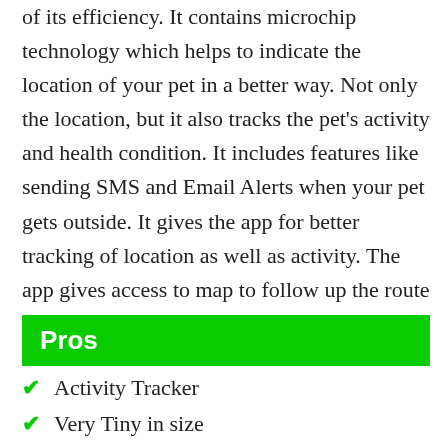of its efficiency. It contains microchip technology which helps to indicate the location of your pet in a better way. Not only the location, but it also tracks the pet's activity and health condition. It includes features like sending SMS and Email Alerts when your pet gets outside. It gives the app for better tracking of location as well as activity. The app gives access to map to follow up the route toward your missing pet.
Pros
Activity Tracker
Very Tiny in size